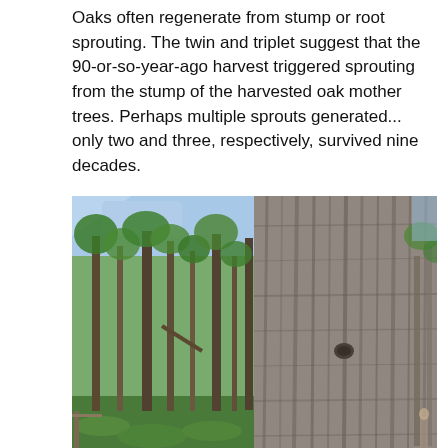Oaks often regenerate from stump or root sprouting. The twin and triplet suggest that the 90-or-so-year-ago harvest triggered sprouting from the stump of the harvested oak mother trees. Perhaps multiple sprouts generated... only two and three, respectively, survived nine decades.
[Figure (photo): A forest scene shown as two side-by-side images: on the left, tall slender trees in a forest with green foliage and blue sky visible through the canopy; on the right, a close-up of a massive oak tree trunk with deeply furrowed gray-brown bark, with other trees visible in the background.]